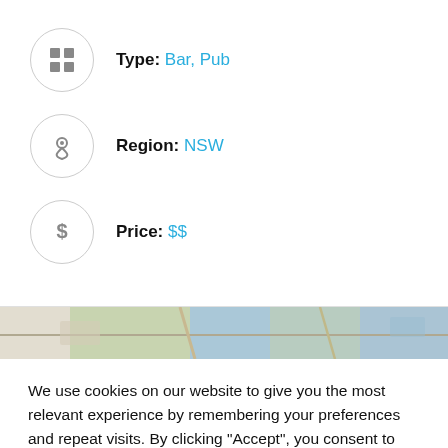Type: Bar, Pub
Region: NSW
Price: $$
[Figure (map): Map strip showing a partial street map view]
We use cookies on our website to give you the most relevant experience by remembering your preferences and repeat visits. By clicking “Accept”, you consent to the use of ALL the cookies.
Cookie settings | ACCEPT